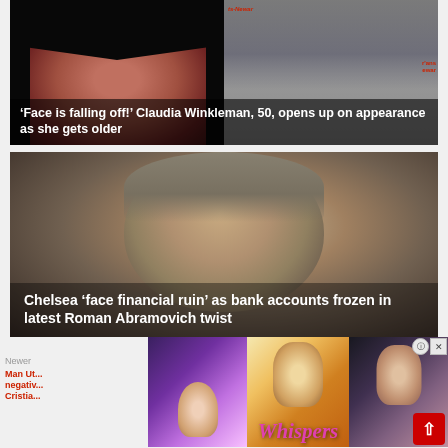[Figure (photo): Two celebrity photos side by side: left shows a woman with dark bangs close-up, right shows another woman in a grey sweater at an event with 'ts-Newark' signage]
'Face is falling off!' Claudia Winkleman, 50, opens up on appearance as she gets older
[Figure (photo): Close-up photo of a middle-aged man with grey stubble and grey hair, looking downward against a dark background]
Chelsea 'face financial ruin' as bank accounts frozen in latest Roman Abramovich twist
Newer
r Post
Man Ut... negativ... Cristia... is now! Bre... ages...
[Figure (illustration): Advertisement overlay showing romance game imagery with 'Whispers' logo in pink italic lettering]